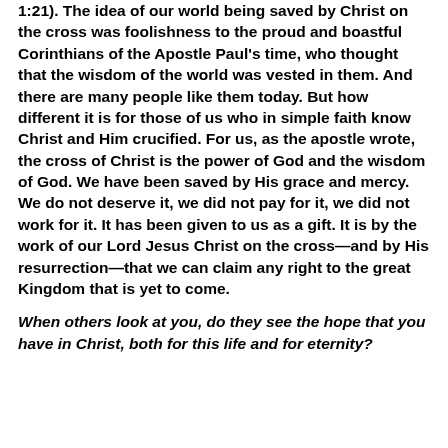1:21). The idea of our world being saved by Christ on the cross was foolishness to the proud and boastful Corinthians of the Apostle Paul's time, who thought that the wisdom of the world was vested in them. And there are many people like them today. But how different it is for those of us who in simple faith know Christ and Him crucified. For us, as the apostle wrote, the cross of Christ is the power of God and the wisdom of God. We have been saved by His grace and mercy. We do not deserve it, we did not pay for it, we did not work for it. It has been given to us as a gift. It is by the work of our Lord Jesus Christ on the cross—and by His resurrection—that we can claim any right to the great Kingdom that is yet to come.
When others look at you, do they see the hope that you have in Christ, both for this life and for eternity?